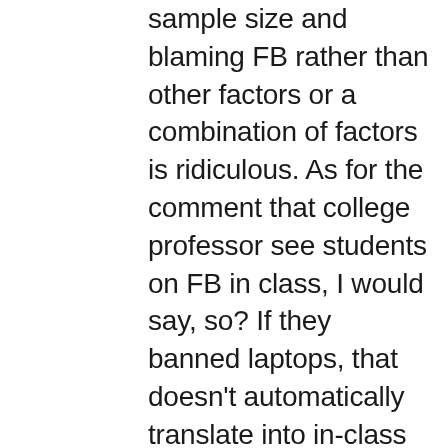sample size and blaming FB rather than other factors or a combination of factors is ridiculous. As for the comment that college professor see students on FB in class, I would say, so? If they banned laptops, that doesn't automatically translate into in-class attention. That student staring at you could be making a grocery list in her head or thinking about the witty remarks she'll Twitter